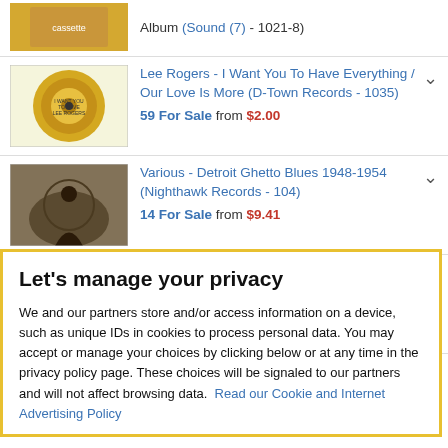Album (Sound (7) - 1021-8)
Lee Rogers - I Want You To Have Everything / Our Love Is More (D-Town Records - 1035) 59 For Sale from $2.00
Various - Detroit Ghetto Blues 1948-1954 (Nighthawk Records - 104) 14 For Sale from $9.41
Jimi Hendrix - Dolly Dagger (Reprise Records - 1044) 9 For Sale from $6.00
Let's manage your privacy
We and our partners store and/or access information on a device, such as unique IDs in cookies to process personal data. You may accept or manage your choices by clicking below or at any time in the privacy policy page. These choices will be signaled to our partners and will not affect browsing data. Read our Cookie and Internet Advertising Policy